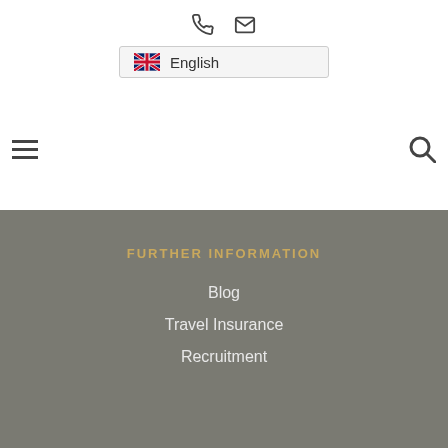[Figure (infographic): Phone icon and email/envelope icon centered near top of page]
[Figure (infographic): UK flag icon followed by text 'English' inside a bordered selector box]
[Figure (infographic): Hamburger menu icon on left and search/magnifier icon on right]
FURTHER INFORMATION
Blog
Travel Insurance
Recruitment